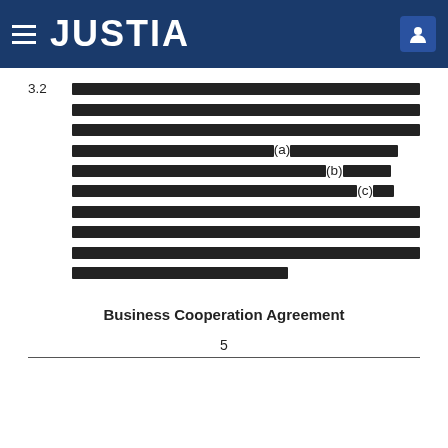JUSTIA
3.2 [redacted text paragraph with references to (a), (b), (c)]
Business Cooperation Agreement
5